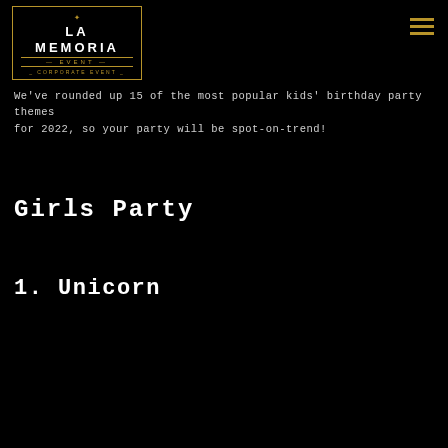LA MEMORIA EVENT — CORPORATE EVENT —
We've rounded up 15 of the most popular kids' birthday party themes for 2022, so your party will be spot-on-trend!
Girls Party
1. Unicorn